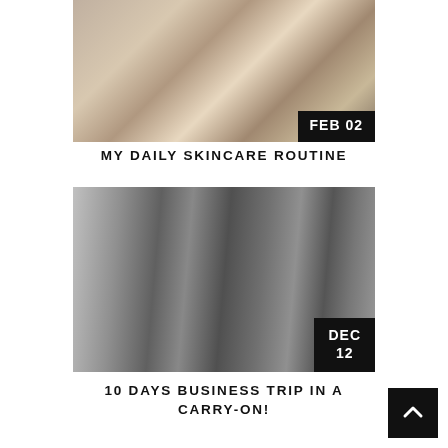[Figure (photo): Skincare product flatlay on a counter with gold and black accessories - date badge FEB 02]
MY DAILY SKINCARE ROUTINE
[Figure (photo): Clothes hanging on a rail, various dark garments - date badge DEC 12]
10 DAYS BUSINESS TRIP IN A CARRY-ON!
[Figure (photo): Beauty products on a tray with flowers and Sephora packaging - date badge MAY 05]
PRETTY FEET!